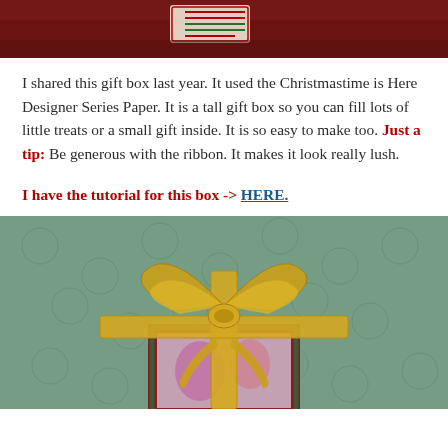[Figure (photo): Top portion of a Christmas gift box with wrapping paper and tag on dark red background]
I shared this gift box last year. It used the Christmastime is Here Designer Series Paper. It is a tall gift box so you can fill lots of little treats or a small gift inside. It is so easy to make too. Just a tip: Be generous with the ribbon. It makes it look really lush.
I have the tutorial for this box -> HERE.
[Figure (photo): A red gift box tied with a large gold ribbon bow, set against a green patterned background]